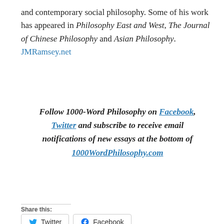and contemporary social philosophy. Some of his work has appeared in Philosophy East and West, The Journal of Chinese Philosophy and Asian Philosophy. JMRamsey.net
Follow 1000-Word Philosophy on Facebook, Twitter and subscribe to receive email notifications of new essays at the bottom of 1000WordPhilosophy.com
Share this:
Twitter Facebook
Loading...